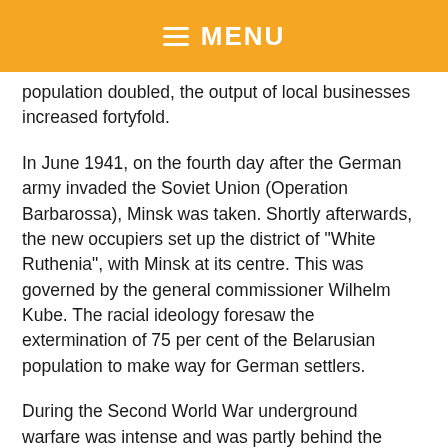≡ MENU
population doubled, the output of local businesses increased fortyfold.
In June 1941, on the fourth day after the German army invaded the Soviet Union (Operation Barbarossa), Minsk was taken. Shortly afterwards, the new occupiers set up the district of "White Ruthenia", with Minsk at its centre. This was governed by the general commissioner Wilhelm Kube. The racial ideology foresaw the extermination of 75 per cent of the Belarusian population to make way for German settlers.
During the Second World War underground warfare was intense and was partly behind the liberation of Minsk on 3rd July 1944. Today, this date is celebrated as Independence Day in Belarus. The town was almost completely razed to the ground by the war, so the first plan was to transfer the capital to Mogilev in the East, but on further